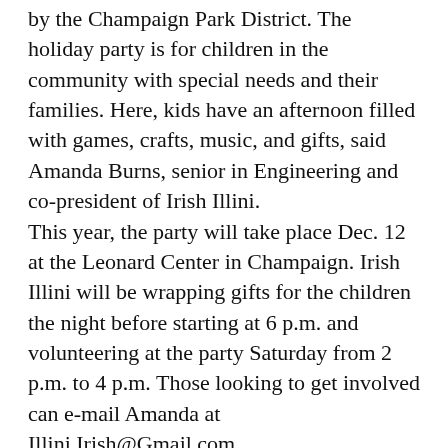by the Champaign Park District. The holiday party is for children in the community with special needs and their families. Here, kids have an afternoon filled with games, crafts, music, and gifts, said Amanda Burns, senior in Engineering and co-president of Irish Illini. This year, the party will take place Dec. 12 at the Leonard Center in Champaign. Irish Illini will be wrapping gifts for the children the night before starting at 6 p.m. and volunteering at the party Saturday from 2 p.m. to 4 p.m. Those looking to get involved can e-mail Amanda at Illini.Irish@Gmail.com. “It’s really open to anyone who is interested,”